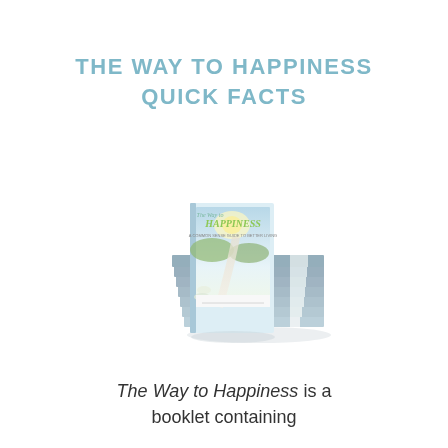THE WAY TO HAPPINESS QUICK FACTS
[Figure (photo): Stack of 'The Way to Happiness' booklets with one booklet standing upright in front, showing a pastoral road scene on the cover with green grass and sunlit path]
The Way to Happiness is a booklet containing